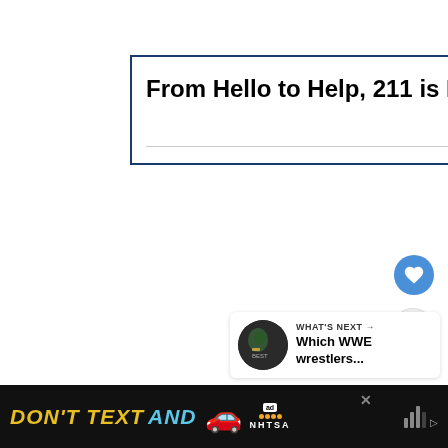[Figure (screenshot): Advertisement banner with dark blue border containing bold text 'From Hello to Help, 211 is Here' with a close (X) button in the top right corner in cyan/teal color, and a search bar line at the bottom.]
From Hello to Help, 211 is Here
[Figure (screenshot): Circular blue like/heart button floating on right side of page]
[Figure (screenshot): Circular white share button with share icon floating on right side of page]
[Figure (screenshot): What's Next panel showing thumbnail image and text 'WHAT'S NEXT → Which WWE wrestlers...']
WHAT'S NEXT → Which WWE wrestlers...
[Figure (screenshot): Bottom advertisement banner with black background showing 'DON'T TEXT AND' in yellow/cyan bold italic font with a red car emoji, ad badge, and NHTSA logo]
DON'T TEXT AND